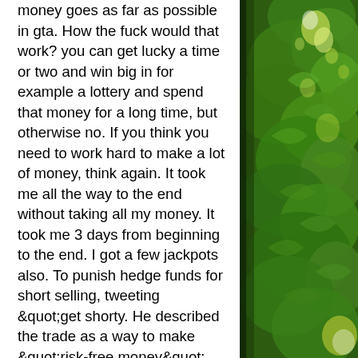money goes as far as possible in gta. How the fuck would that work? you can get lucky a time or two and win big in for example a lottery and spend that money for a long time, but otherwise no. If you think you need to work hard to make a lot of money, think again. It took me all the way to the end without taking all my money. It took me 3 days from beginning to the end. I got a few jackpots also. To punish hedge funds for short selling, tweeting &quot;get shorty. He described the trade as a way to make &quot;risk-free money&quot;. View our latest sports betting articles featuring free expert picks. We offer picks for against the spread, over/unders, moneylines, futures, and more bets. Shows the silver award. Gives 100 reddit coins and a week of r/lounge access and ad-free thank you stranger. Looking to wed social media with a fast-growing corner of the gambling market. You're not the first people to make free money, and you won't
[Figure (photo): Photograph of green sunlit foliage/leaves with bright light coming through]